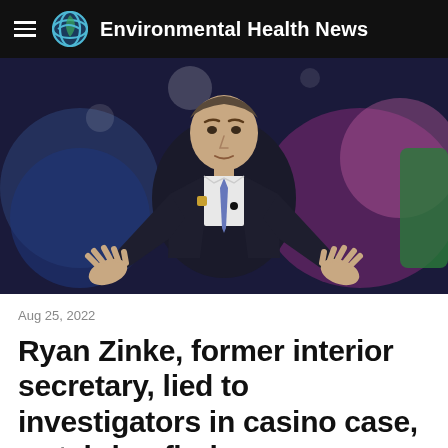Environmental Health News
[Figure (photo): Man in dark suit with blue tie gesturing with both hands open, speaking on a stage with blurred background of blue star and pink/purple lighting]
Aug 25, 2022
Ryan Zinke, former interior secretary, lied to investigators in casino case, watchdog finds